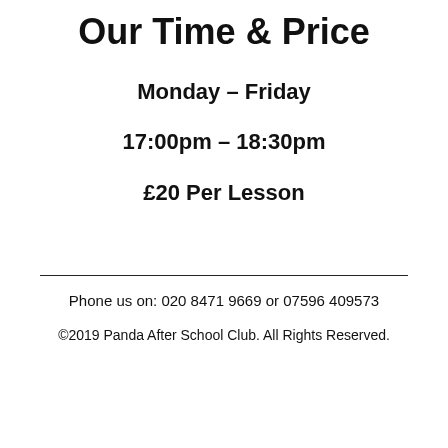Our Time & Price
Monday – Friday
17:00pm – 18:30pm
£20 Per Lesson
Phone us on: 020 8471 9669 or 07596 409573
©2019 Panda After School Club. All Rights Reserved.